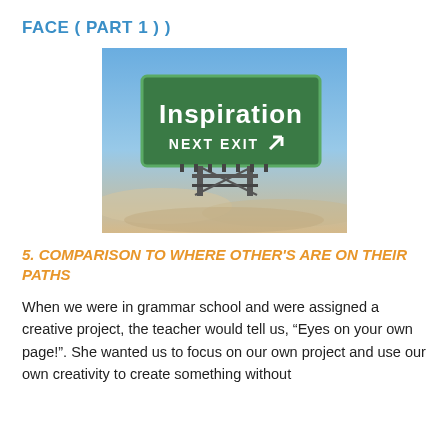FACE ( PART 1 )
[Figure (photo): A highway road sign against a blue sky reading 'Inspiration NEXT EXIT' with an arrow, mounted on a metal gantry structure.]
5. COMPARISON TO WHERE OTHER'S ARE ON THEIR PATHS
When we were in grammar school and were assigned a creative project, the teacher would tell us, “Eyes on your own page!”. She wanted us to focus on our own project and use our own creativity to create something without